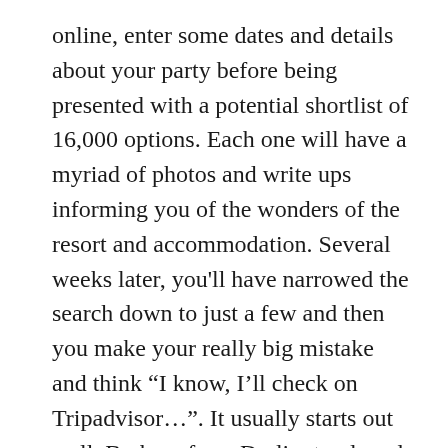online, enter some dates and details about your party before being presented with a potential shortlist of 16,000 options. Each one will have a myriad of photos and write ups informing you of the wonders of the resort and accommodation. Several weeks later, you'll have narrowed the search down to just a few and then you make your really big mistake and think “I know, I’ll check on Tripadvisor…”. It usually starts out well. Barbara from Darlington loved the resort and the accommodation was “spotless”. David from Falmouth thought it was a bit pricey but pretty good value. Then you read the review from Candice in Chelmsford. “Worst holiday ever!” screams the headline. Now what? Can you get a character reference